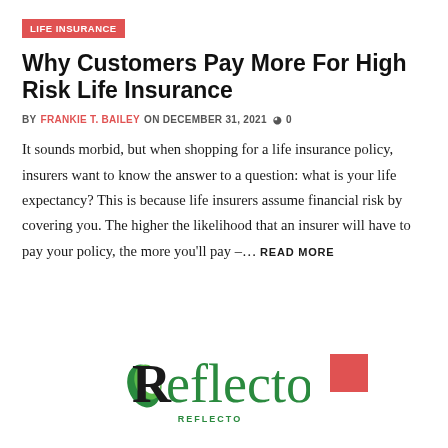LIFE INSURANCE
Why Customers Pay More For High Risk Life Insurance
BY FRANKIE T. BAILEY ON DECEMBER 31, 2021  0
It sounds morbid, but when shopping for a life insurance policy, insurers want to know the answer to a question: what is your life expectancy? This is because life insurers assume financial risk by covering you. The higher the likelihood that an insurer will have to pay your policy, the more you'll pay –… READ MORE
[Figure (logo): Reflecto logo with green lettering and leaf motif, with REFLECTO subtext below, and a red square to the right]